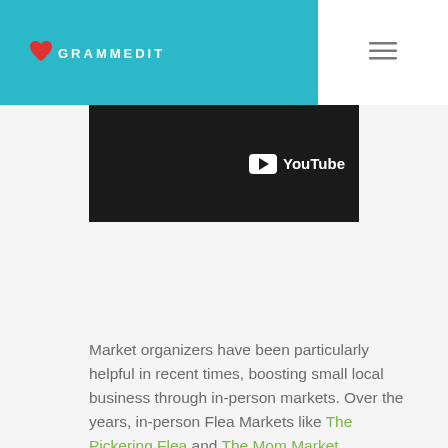GRAMMEDIT
[Figure (screenshot): YouTube video player banner showing YouTube logo on dark background]
Market organizers have been particularly helpful in recent times, boosting small local business through in-person markets. Over the years, in-person Flea Markets like The Pickering Flea and The Mom Market Collective have evolved to become full-fledged events where patrons connect with neighboring creators, create memories with families and engage in good old-fashioned entertainment. While these events can be